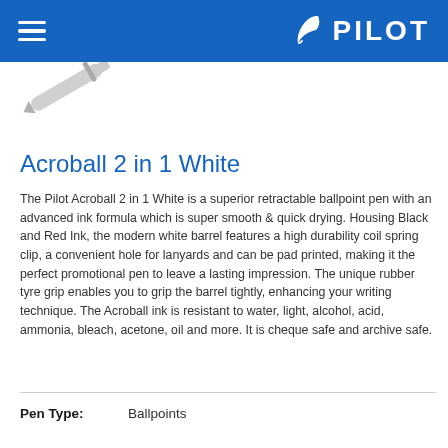PILOT
[Figure (photo): Partial view of a white ballpoint pen angled diagonally, showing the tip and clip portion against a white background.]
Acroball 2 in 1 White
The Pilot Acroball 2 in 1 White is a superior retractable ballpoint pen with an advanced ink formula which is super smooth & quick drying. Housing Black and Red Ink, the modern white barrel features a high durability coil spring clip, a convenient hole for lanyards and can be pad printed, making it the perfect promotional pen to leave a lasting impression. The unique rubber tyre grip enables you to grip the barrel tightly, enhancing your writing technique. The Acroball ink is resistant to water, light, alcohol, acid, ammonia, bleach, acetone, oil and more. It is cheque safe and archive safe.
Pen Type: Ballpoints